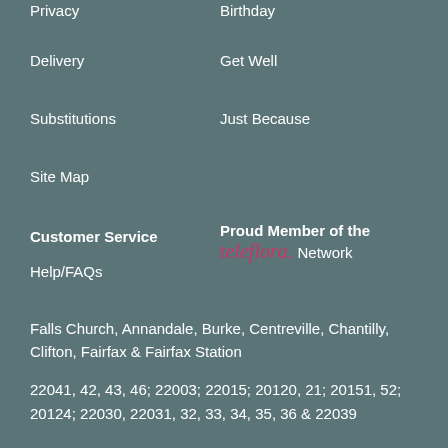Privacy
Birthday
Delivery
Get Well
Substitutions
Just Because
Site Map
Customer Service
Proud Member of the teleflora. Network
Help/FAQs
Falls Church, Annandale, Burke, Centreville, Chantilly, Clifton, Fairfax & Fairfax Station
22041, 42, 43, 46; 22003; 22015; 20120, 21; 20151, 52; 20124; 22030, 22031, 32, 33, 34, 35, 36 & 22039